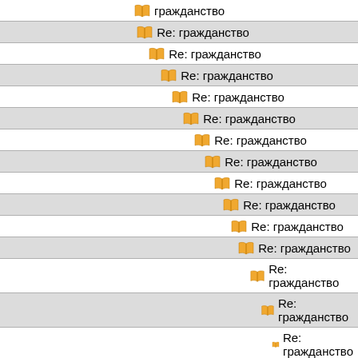гражданство
Re: гражданство
Re: гражданство
Re: гражданство
Re: гражданство
Re: гражданство
Re: гражданство
Re: гражданство
Re: гражданство
Re: гражданство
Re: гражданство
Re: гражданство
Re: гражданство
Re: гражданство
Re: гражданство
Re: гражданство
Re: гражданство
Re: гражданство
Re: гражданство
Re: гражданство